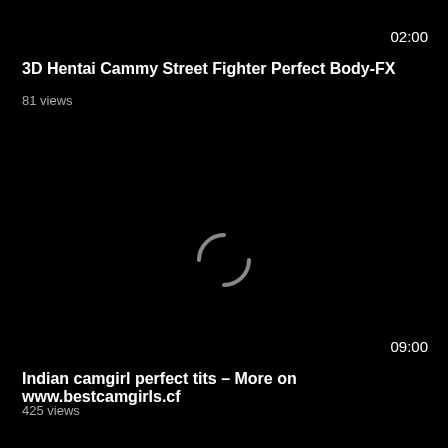02:00
3D Hentai Cammy Street Fighter Perfect Body-FX
81 views
[Figure (screenshot): Black video thumbnail with loading spinner (two curved arc segments forming a circle) centered on a dark background]
09:00
Indian camgirl perfect tits – More on www.bestcamgirls.cf
425 views